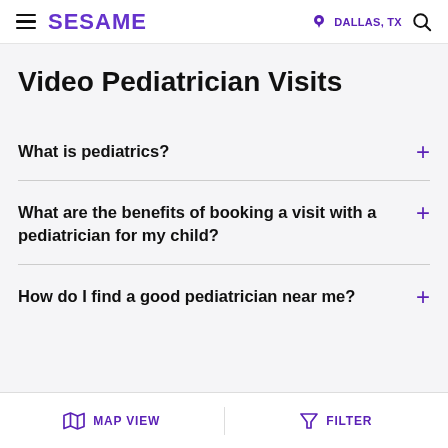SESAME | DALLAS, TX
Video Pediatrician Visits
What is pediatrics?
What are the benefits of booking a visit with a pediatrician for my child?
How do I find a good pediatrician near me?
MAP VIEW | FILTER